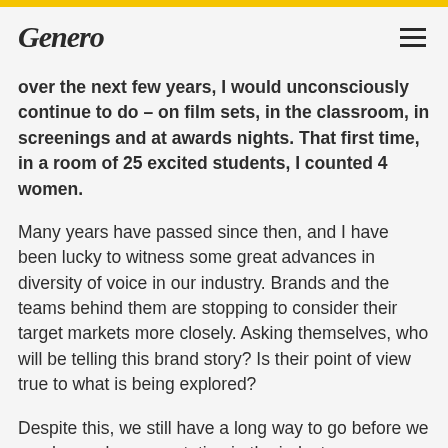Genero
over the next few years, I would unconsciously continue to do – on film sets, in the classroom, in screenings and at awards nights. That first time, in a room of 25 excited students, I counted 4 women.
Many years have passed since then, and I have been lucky to witness some great advances in diversity of voice in our industry. Brands and the teams behind them are stopping to consider their target markets more closely. Asking themselves, who will be telling this brand story? Is their point of view true to what is being explored?
Despite this, we still have a long way to go before we reach equal representation in the industry –